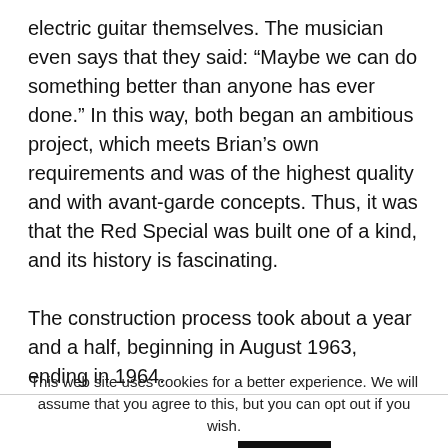electric guitar themselves. The musician even says that they said: “Maybe we can do something better than anyone has ever done.” In this way, both began an ambitious project, which meets Brian’s own requirements and was of the highest quality and with avant-garde concepts. Thus, it was that the Red Special was built one of a kind, and its history is fascinating.

The construction process took about a year and a half, beginning in August 1963, ending in 1964.
This web site uses cookies for a better experience. We will assume that you agree to this, but you can opt out if you wish.